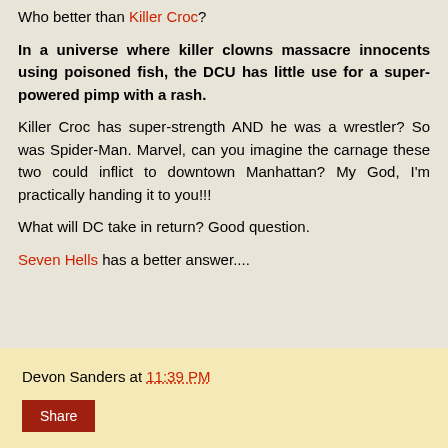Who better than Killer Croc?
In a universe where killer clowns massacre innocents using poisoned fish, the DCU has little use for a super-powered pimp with a rash.
Killer Croc has super-strength AND he was a wrestler? So was Spider-Man. Marvel, can you imagine the carnage these two could inflict to downtown Manhattan? My God, I'm practically handing it to you!!!
What will DC take in return? Good question.
Seven Hells has a better answer....
Devon Sanders at 11:39 PM
Share